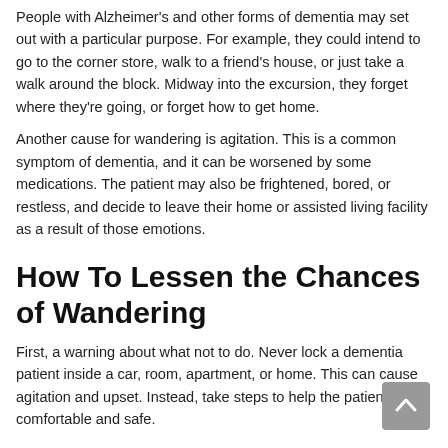People with Alzheimer's and other forms of dementia may set out with a particular purpose. For example, they could intend to go to the corner store, walk to a friend's house, or just take a walk around the block. Midway into the excursion, they forget where they're going, or forget how to get home.
Another cause for wandering is agitation. This is a common symptom of dementia, and it can be worsened by some medications. The patient may also be frightened, bored, or restless, and decide to leave their home or assisted living facility as a result of those emotions.
How To Lessen the Chances of Wandering
First, a warning about what not to do. Never lock a dementia patient inside a car, room, apartment, or home. This can cause agitation and upset. Instead, take steps to help the patient feel comfortable and safe.